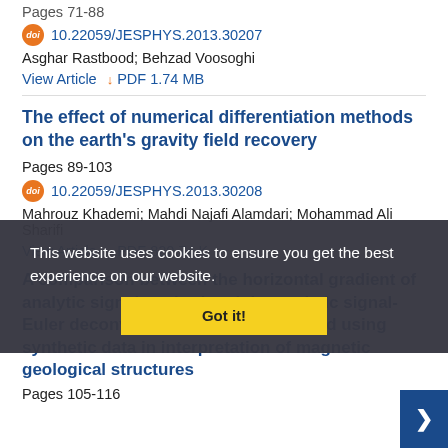Pages 71-88
10.22059/JESPHYS.2013.30207
Asghar Rastbood; Behzad Voosoghi
View Article  ↓ PDF 1.74 MB
The effect of numerical differentiation methods on the earth’s gravity field recovery
Pages 89-103
10.22059/JESPHYS.2013.30208
Mahrouz Khademi; Mahdi Najafi Alamdari; Mohammad Ali Sharifi
View Article  ↓ PDF 820.74 K
A comparison between the horizontal gradient of analytic signal method and the analytic signal-Euler deconvolution combined method using synthetic data in interpretation of magnetic geological structures
Pages 105-116
This website uses cookies to ensure you get the best experience on our website.
Got it!